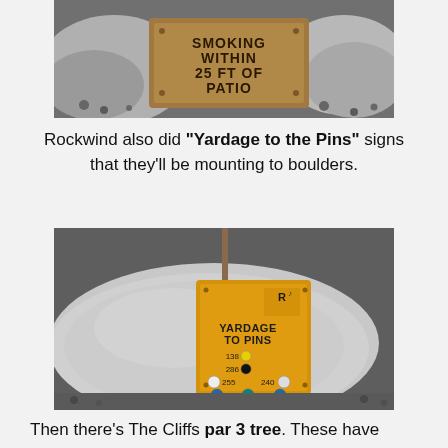[Figure (photo): A sign on a rock/gravel surface reading 'SMOKING WITHIN 25 FT OF PATIO' mounted on a dark bronze-colored plaque with rocks around it.]
Rockwind also did "Yardage to the Pins" signs that they'll be mounting to boulders.
[Figure (photo): A yellow 'YARDAGE TO PINS' sign mounted on a large granite boulder, showing colored dots with yardage numbers: 138 (yellow), 286 (black), 255 and 240 (white), 169 (teal), 155 and 138 (blue), and 102 (red).]
Then there's The Cliffs par 3 tree. These have been